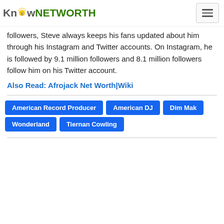Know NETWORTH
followers, Steve always keeps his fans updated about him through his Instagram and Twitter accounts. On Instagram, he is followed by 9.1 million followers and 8.1 million followers follow him on his Twitter account.
Also Read: Afrojack Net Worth|Wiki
American Record Producer
American DJ
Dim Mak
Wonderland
Tiernan Cowling